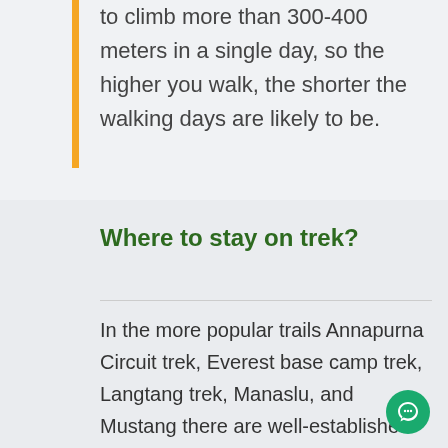to climb more than 300-400 meters in a single day, so the higher you walk, the shorter the walking days are likely to be.
Where to stay on trek?
In the more popular trails Annapurna Circuit trek, Everest base camp trek, Langtang trek, Manaslu, and Mustang there are well-established Mountain lodges providing sleeping accommodation and meals. Only some